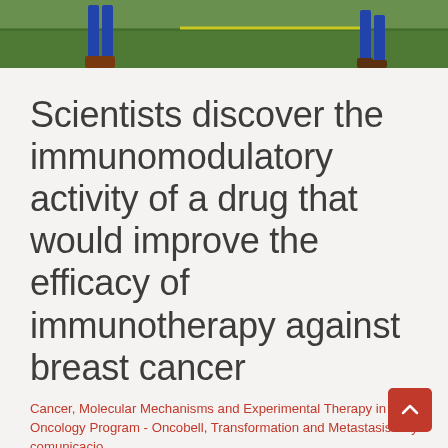[Figure (photo): Top portion of photo showing people standing on grass, only legs visible. Blue trousers and brown shoes on the left, partial figure on the right.]
Scientists discover the immunomodulatory activity of a drug that would improve the efficacy of immunotherapy against breast cancer
Cancer, Molecular Mechanisms and Experimental Therapy in Oncology Program - Oncobell, Transformation and Metastasis / By comunicacio
The team of Dr. Eva González-Suarez, from the CNIO and IDIBELL, and the team of Dr. Christos Sotiriou, from the Bordet Institute, demonstrate that a drug already used to treat osteoporosis promotes the infiltration of immune cells b...